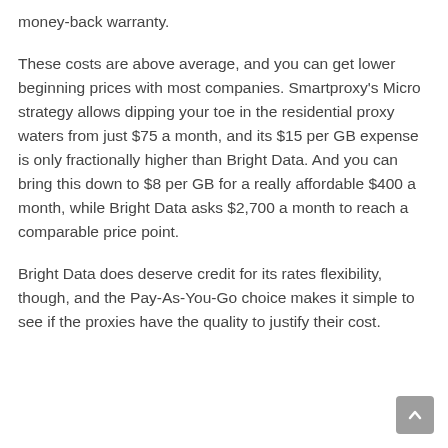money-back warranty.
These costs are above average, and you can get lower beginning prices with most companies. Smartproxy's Micro strategy allows dipping your toe in the residential proxy waters from just $75 a month, and its $15 per GB expense is only fractionally higher than Bright Data. And you can bring this down to $8 per GB for a really affordable $400 a month, while Bright Data asks $2,700 a month to reach a comparable price point.
Bright Data does deserve credit for its rates flexibility, though, and the Pay-As-You-Go choice makes it simple to see if the proxies have the quality to justify their cost.